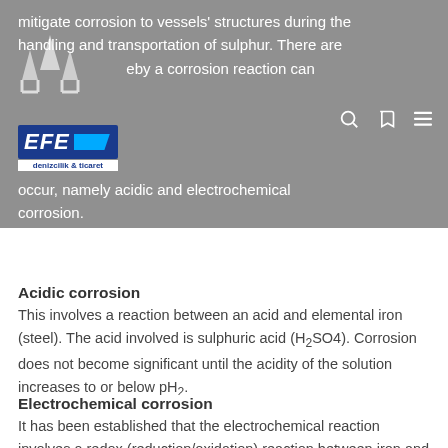mitigate corrosion to vessels' structures during the handling and transportation of sulphur. There are two processes whereby a corrosion reaction can occur, namely acidic and electrochemical corrosion.
Acidic corrosion
This involves a reaction between an acid and elemental iron (steel). The acid involved is sulphuric acid (H₂SO4). Corrosion does not become significant until the acidity of the solution increases to or below pH₂.
Electrochemical corrosion
It has been established that the electrochemical reaction involves a redox (reduction/oxidation) reaction between iron and sulphur. The specific